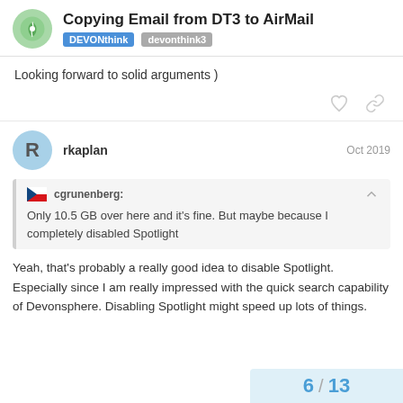Copying Email from DT3 to AirMail — DEVONthink | devonthink3
Looking forward to solid arguments )
rkaplan   Oct 2019
cgrunenberg:
Only 10.5 GB over here and it's fine. But maybe because I completely disabled Spotlight
Yeah, that's probably a really good idea to disable Spotlight. Especially since I am really impressed with the quick search capability of Devonsphere. Disabling Spotlight might speed up lots of things.
6 / 13